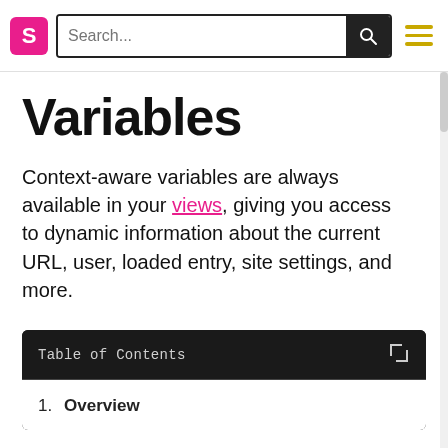S  Search...  [search icon]  [menu icon]
Variables
Context-aware variables are always available in your views, giving you access to dynamic information about the current URL, user, loaded entry, site settings, and more.
Table of Contents
1. Overview